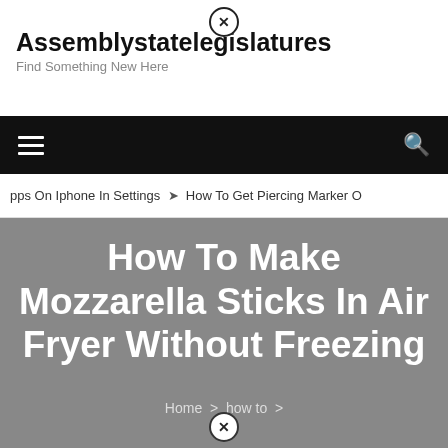Assemblystatelegislatures – Find Something New Here
[Figure (screenshot): Website navigation bar with hamburger menu icon on left and search icon on right, black background]
pps On Iphone In Settings  ➤  How To Get Piercing Marker O
How To Make Mozzarella Sticks In Air Fryer Without Freezing
Home › how to ›